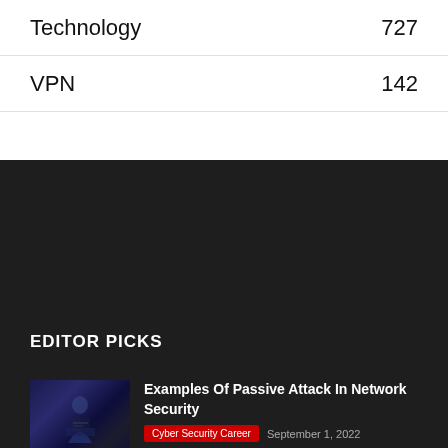| Category | Count |
| --- | --- |
| Technology | 727 |
| VPN | 142 |
EDITOR PICKS
[Figure (photo): Person working at computer in dark blue-lit room, hacker/security theme]
Examples Of Passive Attack In Network Security
Cyber Security Career · September 1, 2022
[Figure (photo): Person at multiple monitor workstation in dark room, cybersecurity theme]
Secure Quick Reliable Login
Cyber Security · September 1, 2022